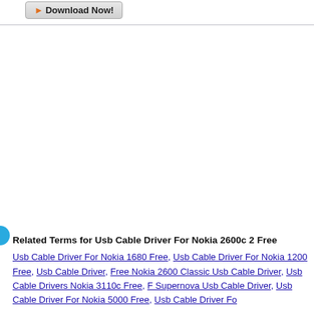[Figure (screenshot): Download Now button with orange arrow icon, gray gradient background]
[Figure (illustration): Blue circle partially visible on the left edge of the page]
Related Terms for Usb Cable Driver For Nokia 2600c 2 Free
Usb Cable Driver For Nokia 1680 Free, Usb Cable Driver For Nokia 1200 Free, Usb Cable Driver, Free Nokia 2600 Classic Usb Cable Driver, Usb Cable Drivers Nokia 3110c Free, Supernova Usb Cable Driver, Usb Cable Driver For Nokia 5000 Free, Usb Cable Driver Fo...